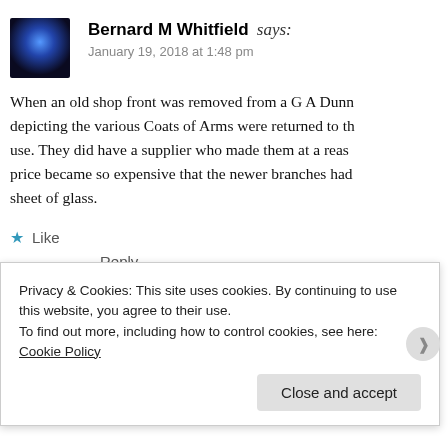[Figure (photo): Avatar image of Bernard M Whitfield showing a dark blue-lit interior scene]
Bernard M Whitfield says:
January 19, 2018 at 1:48 pm
When an old shop front was removed from a G A Dunn depicting the various Coats of Arms were returned to their use. They did have a supplier who made them at a reasonable price became so expensive that the newer branches had sheet of glass.
Like
Reply
[Figure (logo): Avatar image for Ade Macrow — decorative red pattern grid]
Ade Macrow says:
Privacy & Cookies: This site uses cookies. By continuing to use this website, you agree to their use.
To find out more, including how to control cookies, see here: Cookie Policy
Close and accept